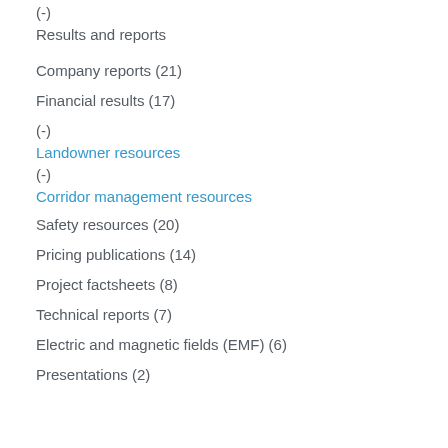(-)
Results and reports
Company reports (21)
Financial results (17)
(-)
Landowner resources
(-)
Corridor management resources
Safety resources (20)
Pricing publications (14)
Project factsheets (8)
Technical reports (7)
Electric and magnetic fields (EMF) (6)
Presentations (2)